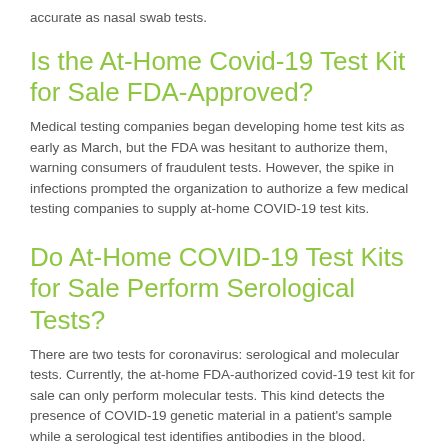accurate as nasal swab tests.
Is the At-Home Covid-19 Test Kit for Sale FDA-Approved?
Medical testing companies began developing home test kits as early as March, but the FDA was hesitant to authorize them, warning consumers of fraudulent tests. However, the spike in infections prompted the organization to authorize a few medical testing companies to supply at-home COVID-19 test kits.
Do At-Home COVID-19 Test Kits for Sale Perform Serological Tests?
There are two tests for coronavirus: serological and molecular tests. Currently, the at-home FDA-authorized covid-19 test kit for sale can only perform molecular tests. This kind detects the presence of COVID-19 genetic material in a patient's sample while a serological test identifies antibodies in the blood.